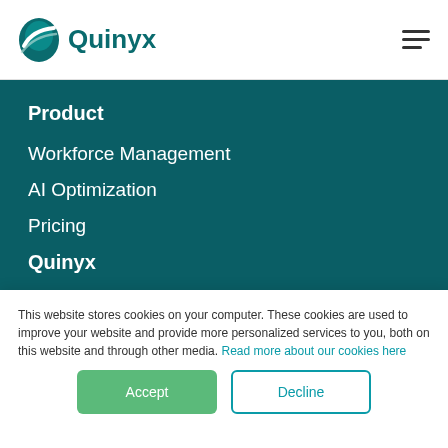Quinyx
Product
Workforce Management
AI Optimization
Pricing
Quinyx
This website stores cookies on your computer. These cookies are used to improve your website and provide more personalized services to you, both on this website and through other media. Read more about our cookies here
Accept | Decline